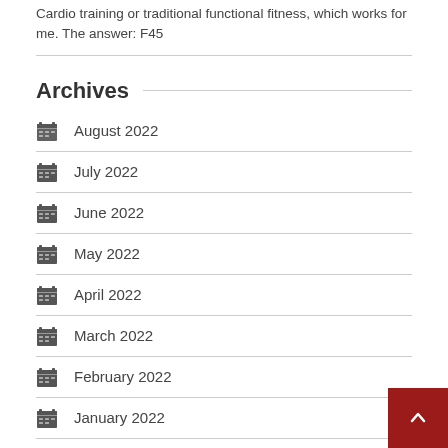Cardio training or traditional functional fitness, which works for me. The answer: F45
Archives
August 2022
July 2022
June 2022
May 2022
April 2022
March 2022
February 2022
January 2022
December 2021